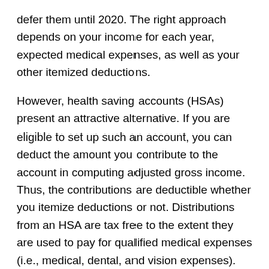defer them until 2020. The right approach depends on your income for each year, expected medical expenses, as well as your other itemized deductions.
However, health saving accounts (HSAs) present an attractive alternative. If you are eligible to set up such an account, you can deduct the amount you contribute to the account in computing adjusted gross income. Thus, the contributions are deductible whether you itemize deductions or not. Distributions from an HSA are tax free to the extent they are used to pay for qualified medical expenses (i.e., medical, dental, and vision expenses). For 2019, the annual contribution limits are $3,500 for an individual with self-only coverage and $7,000 for an individual with family coverage.
Mortgage Interest Deduction